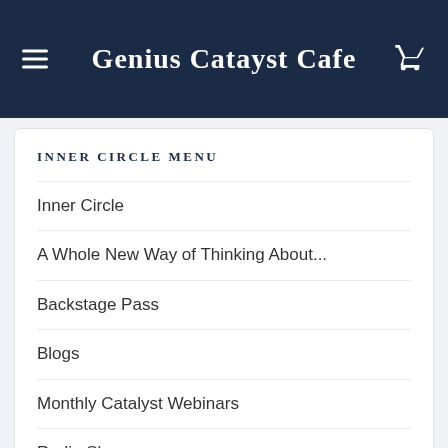Genius Catayst Cafe
INNER CIRCLE MENU
Inner Circle
A Whole New Way of Thinking About...
Backstage Pass
Blogs
Monthly Catalyst Webinars
Radio Shows
Talks and Workshops